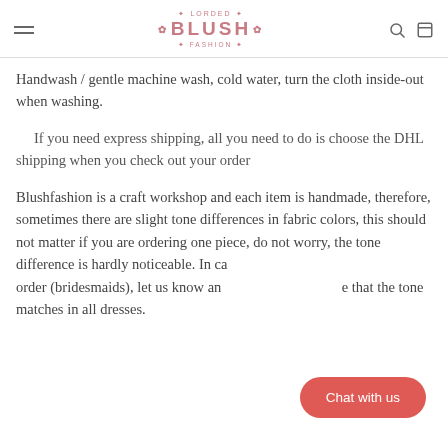BLUSH
Handwash / gentle machine wash, cold water, turn the cloth inside-out when washing.
If you need express shipping, all you need to do is choose the DHL shipping when you check out your order
Blushfashion is a craft workshop and each item is handmade, therefore, sometimes there are slight tone differences in fabric colors, this should not matter if you are ordering one piece, do not worry, the tone difference is hardly noticeable. In case you are ordering for a group order (bridesmaids), let us know and we will make sure that the tone matches in all dresses.